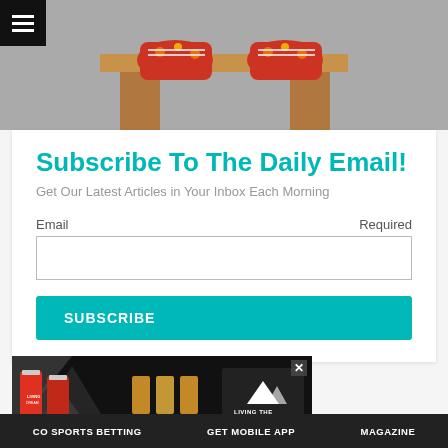[Figure (photo): Cropped photo showing feet wearing red patterned sneakers, standing on a wooden surface against a grey background.]
Subscribe To The Daily Email!
Get Our Latest Articles in Your Inbox Each Morning
Email    Required
[Figure (screenshot): Email subscription form input field (empty text box).]
SUBSCRIBE
[Figure (photo): Advertisement banner for Living The Dream Brewing Company, Littleton CO. Shows beer cans and glasses with triangular graphic elements.]
CO SPORTS BETTING    GET MOBILE APP    MAGAZINE